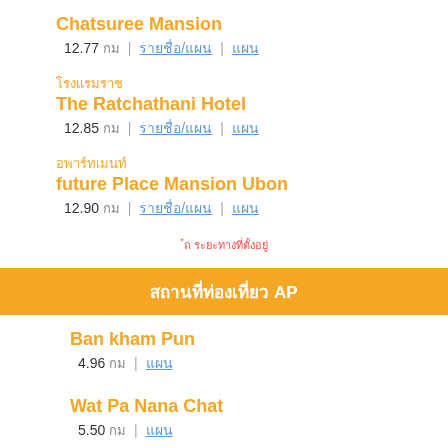Chatsuree Mansion
12.77 กม | รายชื่อ/แผน | แผน
โรงแรมราช
The Ratchathani Hotel
12.85 กม | รายชื่อ/แผน | แผน
อพาร์ทเมนท์
future Place Mansion Ubon
12.90 กม | รายชื่อ/แผน | แผน
*ถ ระยะทางที่ตั้งอยู่
สถานที่ท่องเที่ยว APพ
Ban kham Pun
4.96 กม | แผน
Wat Pa Nana Chat
5.50 กม | แผน
Wat Nong Pa Pong วัดหนอง
Wat Nong Pa Pong